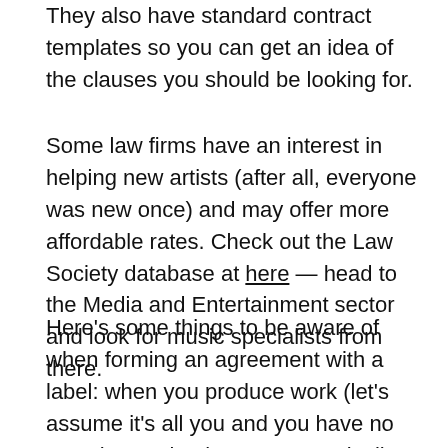They also have standard contract templates so you can get an idea of the clauses you should be looking for.
Some law firms have an interest in helping new artists (after all, everyone was new once) and may offer more affordable rates. Check out the Law Society database at here — head to the Media and Entertainment sector and look for music specialists from there.
Here's some things to be aware of when forming an agreement with a label: when you produce work (let's assume it's all you and you have no samples to clear), you automatically own your work. There are two copyrights that are applied: the copyright for the composition — i.e. the notes, chords and lyrics — and the copyright of